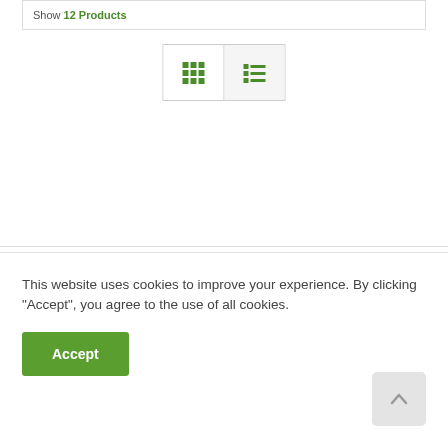Show 12 Products
[Figure (screenshot): View toggle buttons: grid view (3x3 dots) and list view (lines), displayed side by side in a bordered container]
This website uses cookies to improve your experience. By clicking "Accept", you agree to the use of all cookies.
Accept